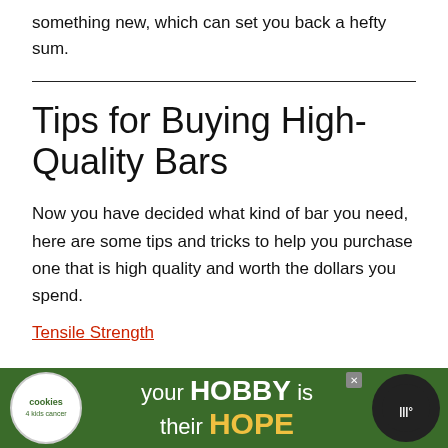something new, which can set you back a hefty sum.
Tips for Buying High-Quality Bars
Now you have decided what kind of bar you need, here are some tips and tricks to help you purchase one that is high quality and worth the dollars you spend.
Tensile Strength
[Figure (infographic): Advertisement banner for cookies4kidscancer.org with text 'your HOBBY is their HOPE' on green background with cookie logo and a podcast logo on the right.]